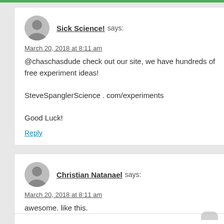Sick Science! says:
March 20, 2018 at 8:11 am
@chaschasdude check out our site, we have hundreds of free experiment ideas!

SteveSpanglerScience . com/experiments

Good Luck!
Reply
Christian Natanael says:
March 20, 2018 at 8:11 am
awesome. like this.
Reply